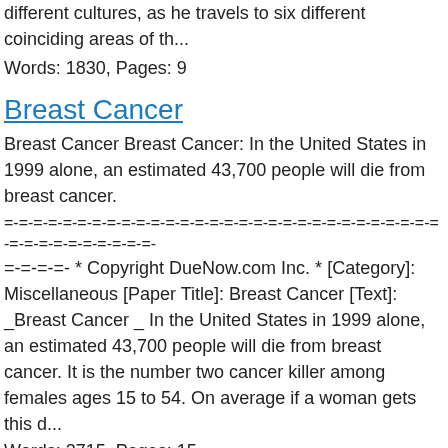different cultures, as he travels to six different coinciding areas of th...
Words: 1830, Pages: 9
Breast Cancer
Breast Cancer Breast Cancer: In the United States in 1999 alone, an estimated 43,700 people will die from breast cancer.
=-=-=-=-=-=-=-=-=-=-=-=-=-=-=-=-=-=-=-=-=-=-=-=-=-=-=-=-=-=-=-=-=-=-=-=-=-=-=-=- * Copyright DueNow.com Inc. * [Category]: Miscellaneous [Paper Title]: Breast Cancer [Text]: _Breast Cancer _ In the United States in 1999 alone, an estimated 43,700 people will die from breast cancer. It is the number two cancer killer among females ages 15 to 54. On average if a woman gets this d...
Words: 2715, Pages: 15
The Ideals Of Instrumental Music